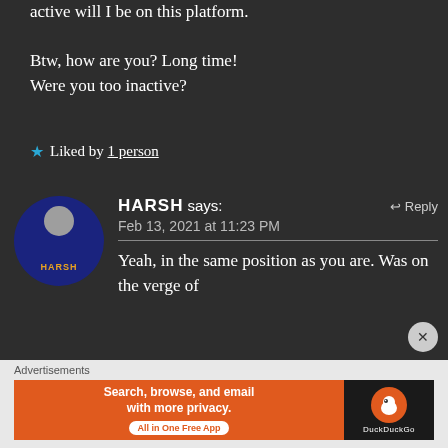active will I be on this platform.
Btw, how are you? Long time! Were you too inactive?
★ Liked by 1 person
[Figure (illustration): User avatar circle for commenter HARSH with dark blue background and orange name label]
HARSH says: Feb 13, 2021 at 11:23 PM ↩ Reply
Yeah, in the same position as you are. Was on the verge of
Advertisements
[Figure (screenshot): DuckDuckGo advertisement banner - Search, browse, and email with more privacy. All in One Free App.]